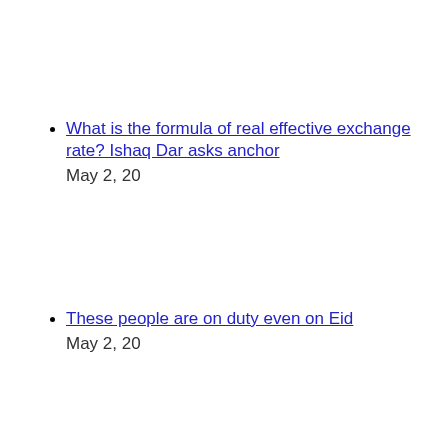What is the formula of real effective exchange rate? Ishaq Dar asks anchor
May 2, 20
These people are on duty even on Eid
May 2, 20